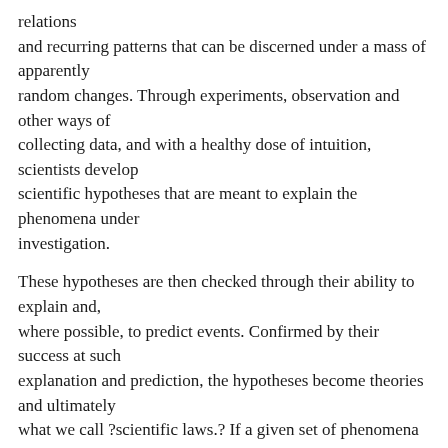relations and recurring patterns that can be discerned under a mass of apparently random changes. Through experiments, observation and other ways of collecting data, and with a healthy dose of intuition, scientists develop scientific hypotheses that are meant to explain the phenomena under investigation.
These hypotheses are then checked through their ability to explain and, where possible, to predict events. Confirmed by their success at such explanation and prediction, the hypotheses become theories and ultimately what we call ?scientific laws.? If a given set of phenomena cannot be reduced to some kind of abstraction, that is, if one can't discern some general and repeatable relations, patterns and dynamics among them, they do not become the material of science.